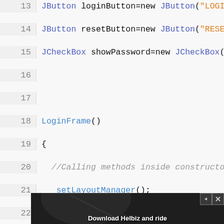[Figure (screenshot): Java source code editor showing lines 13-30 of a LoginFrame class. Lines show JButton and JCheckBox declarations, LoginFrame constructor with method calls setLayoutManager(), setLocationAndSize(), addComponentsToContainer(), and the beginning of public void setLayoutManager() and setLocationAndSize() methods.]
[Figure (photo): Advertisement banner for Helbiz scooter app showing a scooter with the text 'Download Helbiz and ride', with close and skip buttons in the top right corner.]